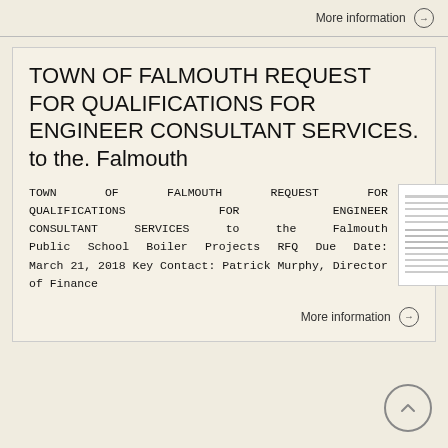More information →
TOWN OF FALMOUTH REQUEST FOR QUALIFICATIONS FOR ENGINEER CONSULTANT SERVICES. to the. Falmouth
TOWN OF FALMOUTH REQUEST FOR QUALIFICATIONS FOR ENGINEER CONSULTANT SERVICES to the Falmouth Public School Boiler Projects RFQ Due Date: March 21, 2018 Key Contact: Patrick Murphy, Director of Finance
[Figure (other): Thumbnail preview of a document page showing text lines]
More information →